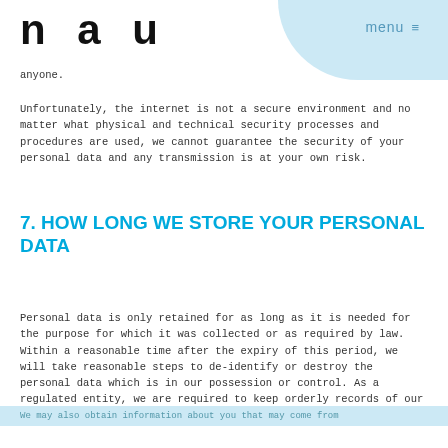n a u   menu ≡
anyone.
Unfortunately, the internet is not a secure environment and no matter what physical and technical security processes and procedures are used, we cannot guarantee the security of your personal data and any transmission is at your own risk.
7. HOW LONG WE STORE YOUR PERSONAL DATA
Personal data is only retained for as long as it is needed for the purpose for which it was collected or as required by law. Within a reasonable time after the expiry of this period, we will take reasonable steps to de-identify or destroy the personal data which is in our possession or control. As a regulated entity, we are required to keep orderly records of our business, internal organisation, services and transactions for a period of at least five years after final use.
We may also obtain information about you that may come from